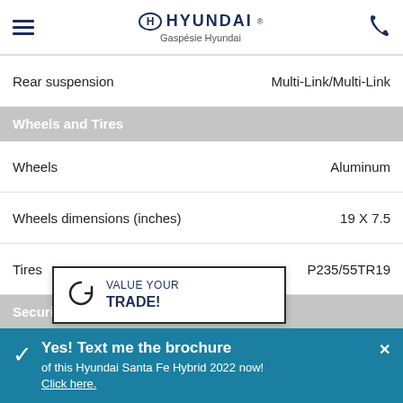Hyundai / Gaspésie Hyundai
| Feature | Value |
| --- | --- |
| Rear suspension | Multi-Link/Multi-Link |
| Wheels and Tires |  |
| Wheels | Aluminum |
| Wheels dimensions (inches) | 19 X 7.5 |
| Tires | P235/55TR19 |
| Security |  |
| ABS | Std |
| Brake assist system | Std |
| Fro[nt airbags] | Std |
| Sid[e airbags] | Std |
| Power locks | Std |
[Figure (screenshot): Trade-in popup overlay with 'VALUE YOUR TRADE!' call-to-action text and recycling/car icon]
Yes! Text me the brochure of this Hyundai Santa Fe Hybrid 2022 now! Click here.